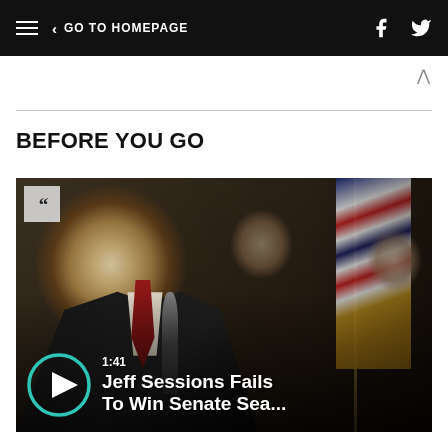GO TO HOMEPAGE
BEFORE YOU GO
[Figure (photo): Video thumbnail showing Jeff Sessions speaking at a podium with a microphone, wearing a dark suit and red tie. An American flag is visible in the background. Other figures are seated behind him. A teal play button circle overlay is in the lower left, with duration '1:41' and title 'Jeff Sessions Fails To Win Senate Sea...' in white text. A quote icon is in the upper left corner.]